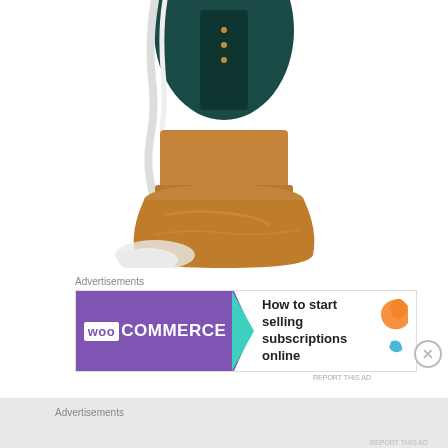[Figure (photo): Close-up photo of a decorative figurine or statue with a dark teal/black jacket and copper/bronze colored base pedestal, on white background. White drips visible on left side.]
Advertisements
[Figure (other): WooCommerce advertisement banner: purple left side with WOO COMMERCE logo, green arrow/triangle shape, and text 'How to start selling subscriptions online' on white right side with orange and blue decorative elements. REPORT THIS AD text at bottom right.]
Advertisements